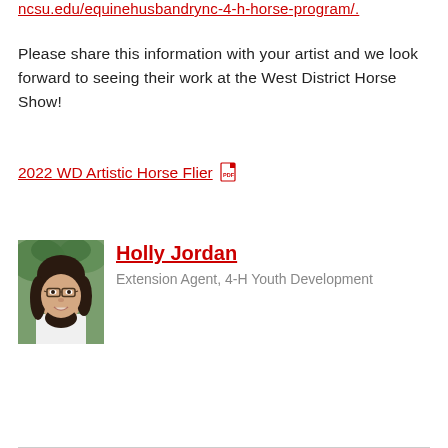ncsu.edu/equinehusbandrync-4-h-horse-program/.
Please share this information with your artist and we look forward to seeing their work at the West District Horse Show!
2022 WD Artistic Horse Flier
[Figure (photo): Headshot of Holly Jordan, a woman with dark hair and glasses, smiling, wearing a white top, outdoors with green foliage background.]
Holly Jordan
Extension Agent, 4-H Youth Development